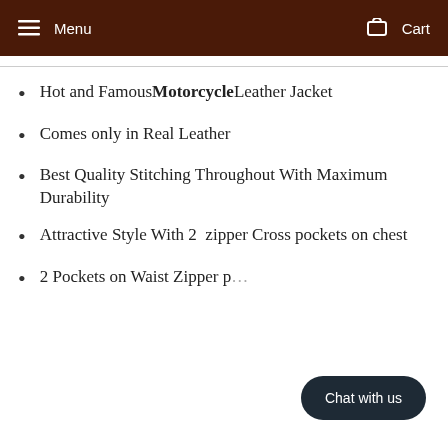Menu  Cart
Hot and Famous Motorcycle Leather Jacket
Comes only in Real Leather
Best Quality Stitching Throughout With Maximum Durability
Attractive Style With 2  zipper Cross pockets on chest
2 Pockets on Waist Zipper p…